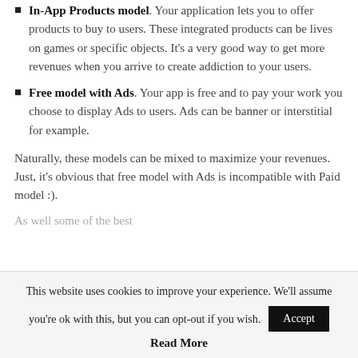In-App Products model. Your application lets you to offer products to buy to users. These integrated products can be lives on games or specific objects. It's a very good way to get more revenues when you arrive to create addiction to your users.
Free model with Ads. Your app is free and to pay your work you choose to display Ads to users. Ads can be banner or interstitial for example.
Naturally, these models can be mixed to maximize your revenues. Just, it's obvious that free model with Ads is incompatible with Paid model :).
As well some of the best...
This website uses cookies to improve your experience. We'll assume you're ok with this, but you can opt-out if you wish.
Read More